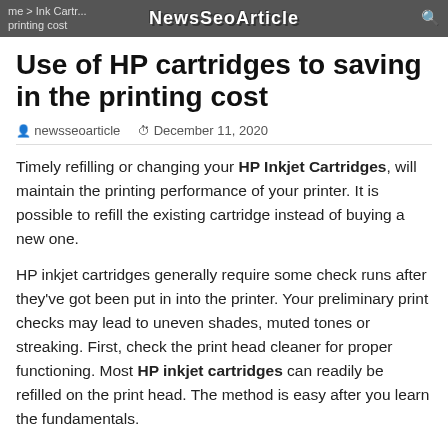me > Ink Cartridges > NewsSeoArticle > saving in the printing cost
Use of HP cartridges to saving in the printing cost
newsseoarticle   December 11, 2020
Timely refilling or changing your HP Inkjet Cartridges, will maintain the printing performance of your printer. It is possible to refill the existing cartridge instead of buying a new one.
HP inkjet cartridges generally require some check runs after they've got been put in into the printer. Your preliminary print checks may lead to uneven shades, muted tones or streaking. First, check the print head cleaner for proper functioning. Most HP inkjet cartridges can readily be refilled on the print head. The method is easy after you learn the fundamentals.